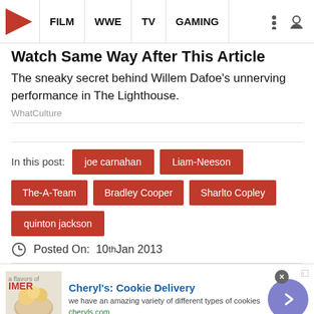FILM | WWE | TV | GAMING
Watch Same Way After This Article
The sneaky secret behind Willem Dafoe's unnerving performance in The Lighthouse.
WhatCulture
In this post: joe carnahan | Liam-Neeson | The-A-Team | Bradley Cooper | Sharlto Copley | quinton jackson
Posted On: 10th Jan 2013
[Figure (infographic): Advertisement banner for Cheryl's Cookie Delivery with cookie image, blue title text, description text, cheryls.com URL, and a purple arrow button.]